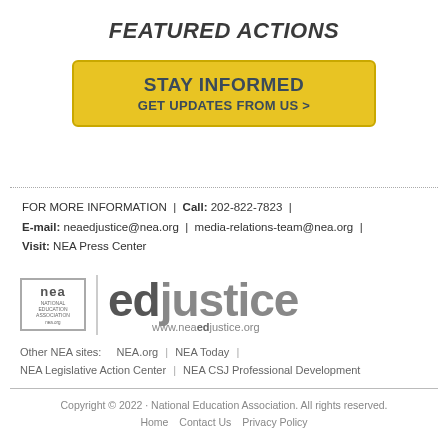FEATURED ACTIONS
[Figure (infographic): Yellow call-to-action button reading 'STAY INFORMED / GET UPDATES FROM US >']
FOR MORE INFORMATION | Call: 202-822-7823 | E-mail: neaedjustice@nea.org | media-relations-team@nea.org | Visit: NEA Press Center
[Figure (logo): NEA edjustice logo with NEA box on left, vertical divider, and 'edjustice' in large gray text with www.neaedjustice.org below]
Other NEA sites: NEA.org | NEA Today | NEA Legislative Action Center | NEA CSJ Professional Development
Copyright © 2022 · National Education Association. All rights reserved. Home Contact Us Privacy Policy